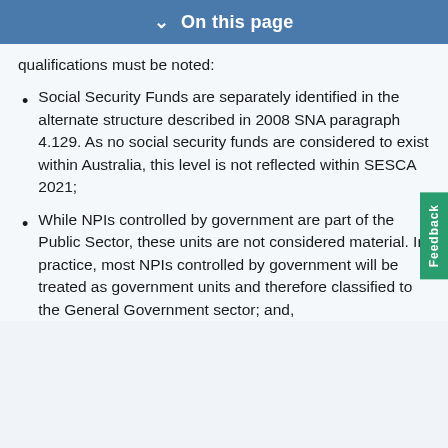On this page
qualifications must be noted:
Social Security Funds are separately identified in the alternate structure described in 2008 SNA paragraph 4.129. As no social security funds are considered to exist within Australia, this level is not reflected within SESCA 2021;
While NPIs controlled by government are part of the Public Sector, these units are not considered material. In practice, most NPIs controlled by government will be treated as government units and therefore classified to the General Government sector; and,